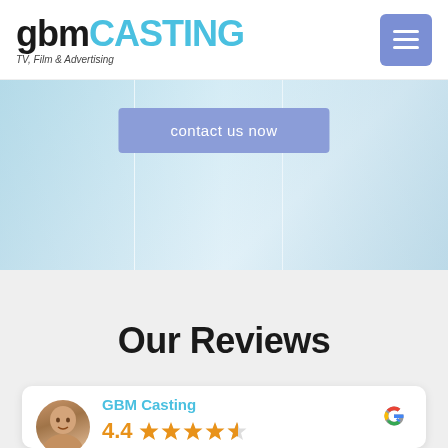[Figure (logo): GBM Casting logo with 'gbm' in black bold and 'CASTING' in cyan/teal, subtitle 'TV, Film & Advertising' in italic]
[Figure (other): Hamburger menu button - blue-purple square with three horizontal white lines]
[Figure (photo): Hero section with light blue/white background showing faint silhouettes of people, with a blue-purple 'contact us now' button overlay]
Our Reviews
[Figure (other): Google review widget card showing GBM Casting 4.4 star rating with avatar photo and Google 'G' logo]